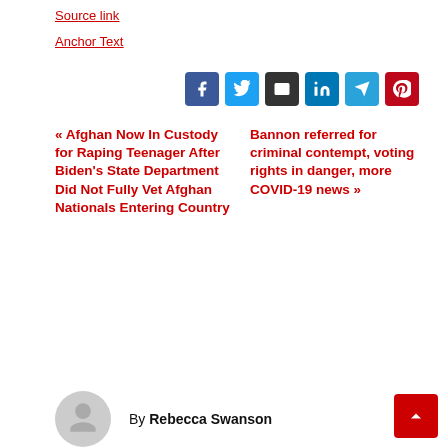Source link
Anchor Text
[Figure (other): Social share buttons: Facebook, Twitter, Email, LinkedIn, Telegram, Pinterest]
« Afghan Now In Custody for Raping Teenager After Biden's State Department Did Not Fully Vet Afghan Nationals Entering Country
Bannon referred for criminal contempt, voting rights in danger, more COVID-19 news »
By Rebecca Swanson